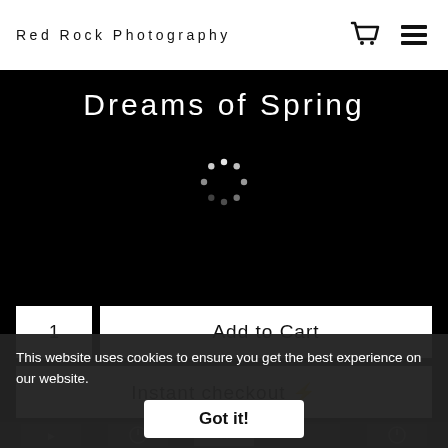Red Rock Photography
Dreams of Spring
[Figure (other): Loading spinner dots in circular arrangement on black background]
1
Add to Cart
Instant checkout ⚡
1 Medium
[Figure (screenshot): Thumbnail strip with product image previews and AR viewer button]
This website uses cookies to ensure you get the best experience on our website.
Got it!